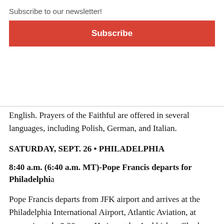Subscribe to our newsletter!
Subscribe
English. Prayers of the Faithful are offered in several languages, including Polish, German, and Italian.
SATURDAY, SEPT. 26 • PHILADELPHIA
8:40 a.m. (6:40 a.m. MT)-Pope Francis departs for Philadelphia
Pope Francis departs from JFK airport and arrives at the Philadelphia International Airport, Atlantic Aviation, at approximately 9:30 a.m. He is met by Archbishop Charles J. Chaput, OFM Conv, Archbishop of...